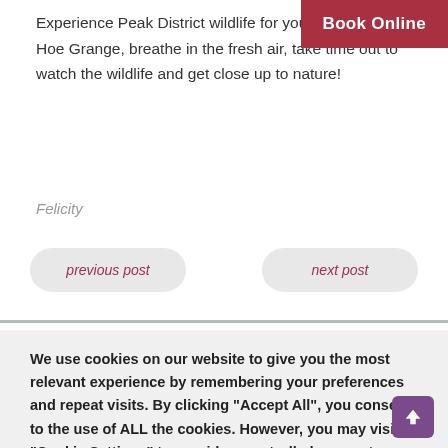Experience Peak District wildlife for yourself at Hoe Grange, breathe in the fresh air, take time out to watch the wildlife and get close up to nature!
Felicity
Book Online
previous post
next post
We use cookies on our website to give you the most relevant experience by remembering your preferences and repeat visits. By clicking "Accept All", you consent to the use of ALL the cookies. However, you may visit "Cookie Settings" to provide a controlled consent.
Cookie Settings
Accept All